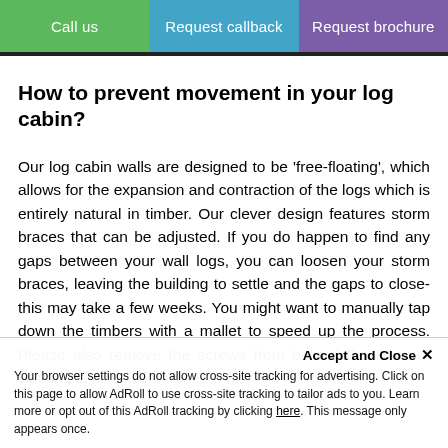Call us | Request callback | Request brochure
How to prevent movement in your log cabin?
Our log cabin walls are designed to be 'free-floating', which allows for the expansion and contraction of the logs which is entirely natural in timber. Our clever design features storm braces that can be adjusted. If you do happen to find any gaps between your wall logs, you can loosen your storm braces, leaving the building to settle and the gaps to close-this may take a few weeks. You might want to manually tap down the timbers with a mallet to speed up the process. Please also remove the screws from behind the Dunster House plates on the frames whilst this is carried out.
Accept and Close ✕
Your browser settings do not allow cross-site tracking for advertising. Click on this page to allow AdRoll to use cross-site tracking to tailor ads to you. Learn more or opt out of this AdRoll tracking by clicking here. This message only appears once.